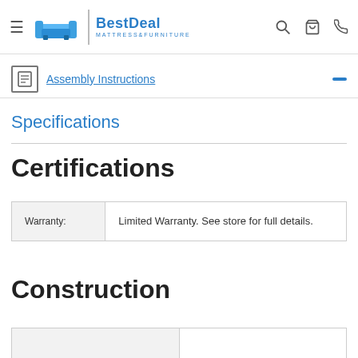BestDeal Mattress & Furniture — navigation header
Assembly Instructions
Specifications
Certifications
|  |  |
| --- | --- |
| Warranty: | Limited Warranty. See store for full details. |
Construction
|  |  |